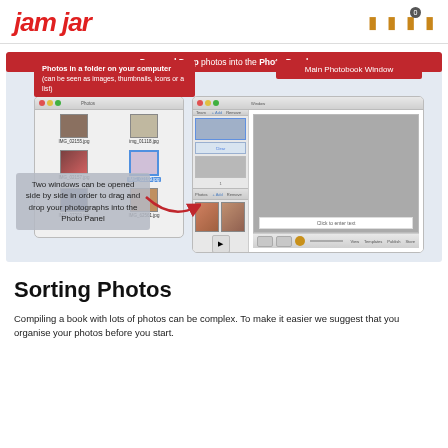jam jar
[Figure (screenshot): Instructional screenshot showing two Mac windows side by side: a Photos folder window on the left with image thumbnails (IMG_02155.jpg, img_01118.jpg, IMG_02157.jpg, IMG_02199.jpg selected, IMG_07303.jpg, IMG_62561.jpg) and a Photobook application window on the right showing a photo panel and main book editing view with drag-and-drop interface. Red banners label 'Photos in a folder on your computer (can be seen as images, thumbnails, icons or a list)' and 'Main Photobook Window'. A grey info box says 'Two windows can be opened side by side in order to drag and drop your photographs into the Photo Panel'. Bottom red banner reads 'Drag and Drop photos into the Photo Panel'.]
Sorting Photos
Compiling a book with lots of photos can be complex. To make it easier we suggest that you organise your photos before you start.